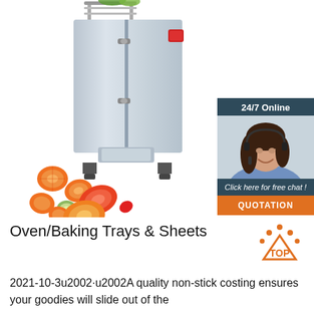[Figure (photo): Commercial vegetable cutting/slicing machine made of stainless steel, with sliced vegetables (carrots, peppers, cucumbers) scattered around it. In the top-right corner, a 24/7 online chat widget with a woman wearing a headset, labeled 'Click here for free chat!' and an orange QUOTATION button.]
Oven/Baking Trays & Sheets
2021-10-3u2002·u2002A quality non-stick costing ensures your goodies will slide out of the